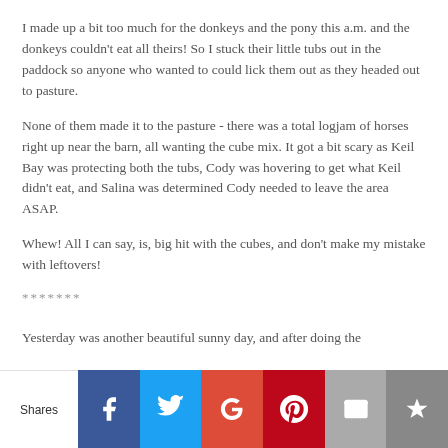I made up a bit too much for the donkeys and the pony this a.m. and the donkeys couldn't eat all theirs! So I stuck their little tubs out in the paddock so anyone who wanted to could lick them out as they headed out to pasture.
None of them made it to the pasture - there was a total logjam of horses right up near the barn, all wanting the cube mix. It got a bit scary as Keil Bay was protecting both the tubs, Cody was hovering to get what Keil didn't eat, and Salina was determined Cody needed to leave the area ASAP.
Whew! All I can say, is, big hit with the cubes, and don't make my mistake with leftovers!
*******
Yesterday was another beautiful sunny day, and after doing the
Shares | Facebook | Twitter | Google+ | Pinterest | Email | Crown